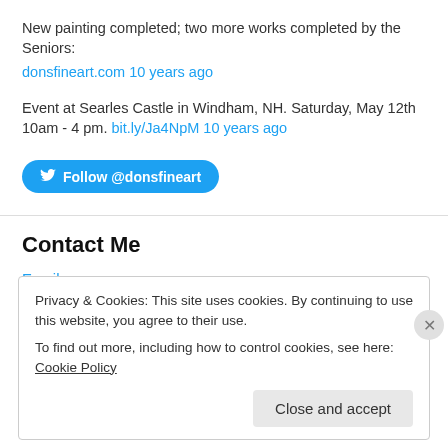New painting completed; two more works completed by the Seniors: donsfineart.com 10 years ago
Event at Searles Castle in Windham, NH. Saturday, May 12th 10am - 4 pm. bit.ly/Ja4NpM 10 years ago
[Figure (other): Twitter Follow button: Follow @donsfineart]
Contact Me
Email me
Privacy & Cookies: This site uses cookies. By continuing to use this website, you agree to their use. To find out more, including how to control cookies, see here: Cookie Policy
Close and accept